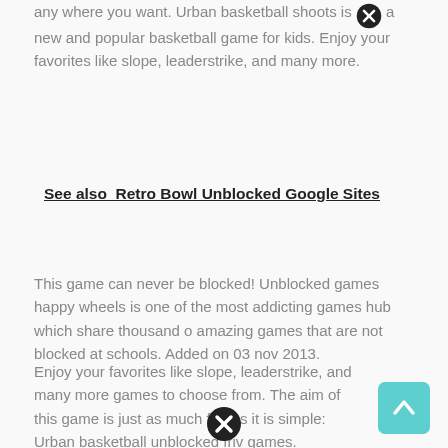any where you want. Urban basketball shoots is a new and popular basketball game for kids. Enjoy your favorites like slope, leaderstrike, and many more.
See also  Retro Bowl Unblocked Google Sites
This game can never be blocked! Unblocked games happy wheels is one of the most addicting games hub which share thousand o amazing games that are not blocked at schools. Added on 03 nov 2013.
Enjoy your favorites like slope, leaderstrike, and many more games to choose from. The aim of this game is just as much fun as it is simple: Urban basketball unblocked friv games.